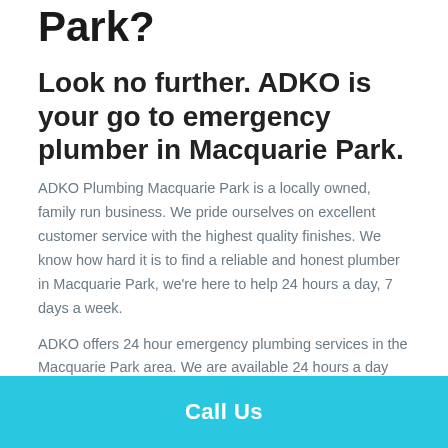Park?
Look no further. ADKO is your go to emergency plumber in Macquarie Park.
ADKO Plumbing Macquarie Park is a locally owned, family run business. We pride ourselves on excellent customer service with the highest quality finishes. We know how hard it is to find a reliable and honest plumber in Macquarie Park, we're here to help 24 hours a day, 7 days a week.
ADKO offers 24 hour emergency plumbing services in the Macquarie Park area. We are available 24 hours a day and offer free quotes to all our clients. If you're looking for an emergency plumber in Macquarie Park that is highly
Call Us